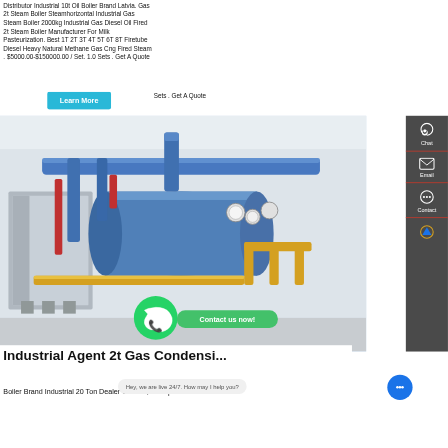Distributor Industrial 10t Oil Boiler Brand Latvia. Gas 2t Steam Boiler Steamhorizontal Industrial Gas Steam Boiler 2000kg Industrial Gas Diesel Oil Fired 2t Steam Boiler Manufacturer For Milk Pasteurization. Best 1T 2T 3T 4T 5T 6T 8T Firetube Diesel Heavy Natural Methane Gas Cng Fired Steam . $5000.00-$150000.00 / Set. 1.0 Sets . Get A Quote
[Figure (photo): Industrial gas steam boilers in a facility with blue and yellow piping, showing multiple large cylindrical boiler units]
Industrial Agent 2t Gas Condensi...
Boiler Brand Industrial 20 Ton Dealer Ukraine; Cheap 6t...
Hey, we are live 24/7. How may I help you?